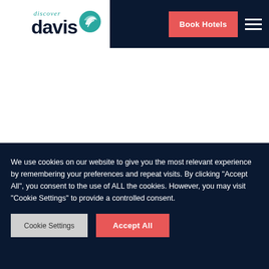[Figure (logo): Discover Davis logo — teal wave/mountain icon with 'discover' in italic above 'davis' in bold dark navy text]
Book Hotels
7 October 2020
Active Indoor Play at Coconut
We use cookies on our website to give you the most relevant experience by remembering your preferences and repeat visits. By clicking "Accept All", you consent to the use of ALL the cookies. However, you may visit "Cookie Settings" to provide a controlled consent.
Cookie Settings
Accept All